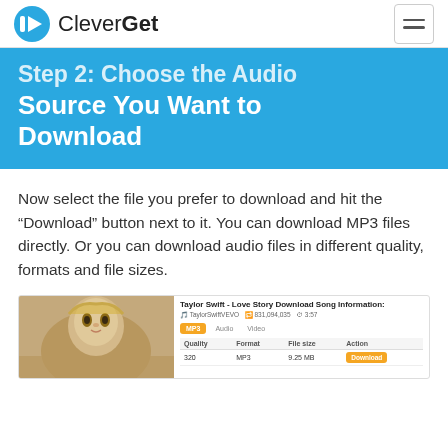CleverGet
Step 2: Choose the Audio Source You Want to Download
Now select the file you prefer to download and hit the “Download” button next to it. You can download MP3 files directly. Or you can download audio files in different quality, formats and file sizes.
[Figure (screenshot): Screenshot of CleverGet app showing Taylor Swift - Love Story download options with MP3, Audio, Video tabs and a table with Quality, Format, File size, Action columns. Shows a thumbnail of Taylor Swift on the left side.]